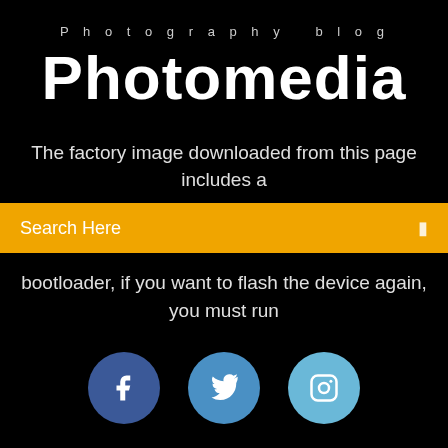Photography blog
Photomedia
The factory image downloaded from this page includes a
Search Here
bootloader, if you want to flash the device again, you must run
[Figure (illustration): Three social media icon circles: Facebook (dark blue), Twitter (medium blue), Instagram (light blue)]
Download Ibm Spss 20 Full Version
Download Free Book Torrent
Download Kode Registrasi Autodwg Pdf To Dwg